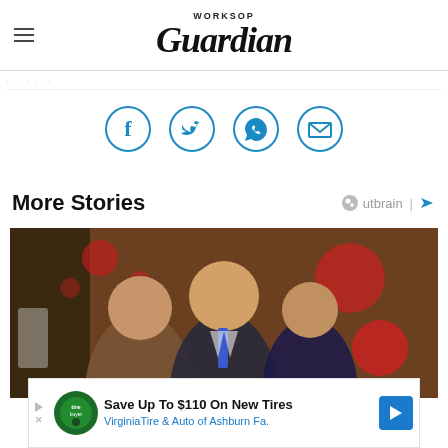Worksop Guardian
[Figure (illustration): Four circular social media share icons: Facebook, Twitter, WhatsApp/phone, and email/envelope, in blue outlines on white background]
More Stories
[Figure (photo): A man in a suit with blue tie smiling, flanked by two young girls, photographed at what appears to be a TV studio or event with festive background]
[Figure (other): Advertisement banner: Save Up To $110 On New Tires - VirginiaTire & Auto of Ashburn Fa.]